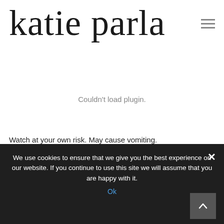katie parla
Couldn't load plugin.
Watch at your own risk. May cause vomiting.
We use cookies to ensure that we give you the best experience on our website. If you continue to use this site we will assume that you are happy with it.
Ok